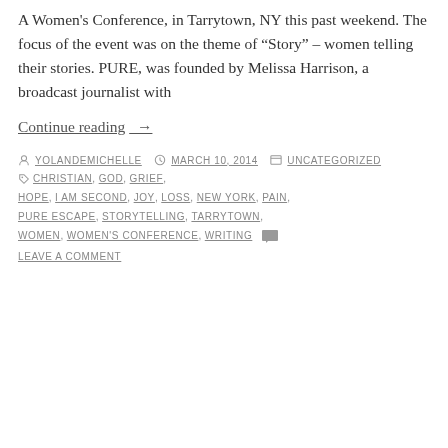A Women's Conference, in Tarrytown, NY this past weekend. The focus of the event was on the theme of “Story” – women telling their stories. PURE, was founded by Melissa Harrison, a broadcast journalist with
Continue reading →
By YOLANDEMICHELLE   MARCH 10, 2014   UNCATEGORIZED   CHRISTIAN, GOD, GRIEF, HOPE, I AM SECOND, JOY, LOSS, NEW YORK, PAIN, PURE ESCAPE, STORYTELLING, TARRYTOWN, WOMEN, WOMEN'S CONFERENCE, WRITING   LEAVE A COMMENT